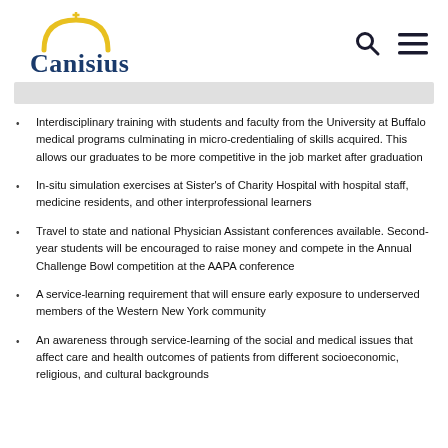Canisius
Interdisciplinary training with students and faculty from the University at Buffalo medical programs culminating in micro-credentialing of skills acquired. This allows our graduates to be more competitive in the job market after graduation
In-situ simulation exercises at Sister's of Charity Hospital with hospital staff, medicine residents, and other interprofessional learners
Travel to state and national Physician Assistant conferences available. Second-year students will be encouraged to raise money and compete in the Annual Challenge Bowl competition at the AAPA conference
A service-learning requirement that will ensure early exposure to underserved members of the Western New York community
An awareness through service-learning of the social and medical issues that affect care and health outcomes of patients from different socioeconomic, religious, and cultural backgrounds